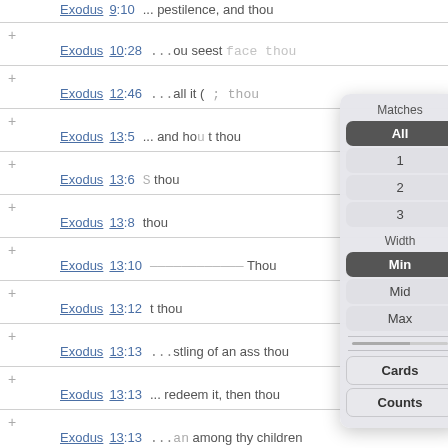Exodus 9:10 ... pestilence, and thou
Exodus 10:28 ...ou seest face thou
Exodus 12:46 ...all it ( ; thou
Exodus 13:5 ... and hou t thou
Exodus 13:6 S thou
Exodus 13:8 thou
Exodus 13:10 Thou
Exodus 13:12 t thou
Exodus 13:13 ...stling of an ass thou
Exodus 13:13 ... redeem it, then thou
Exodus 13:13 ...an among thy children
Exodus 13:14 ...at is this? that thou
[Figure (screenshot): Dropdown overlay showing Matches section with All (selected, dark), 1, 2, 3 options; Width section with Min (selected, dark), Mid, Max options; a slider line; Cards and Counts buttons]